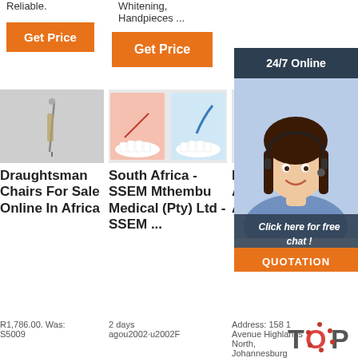Reliable.
[Figure (other): Get Price orange button]
Whitening, Handpieces ...
[Figure (other): Get Price orange button second]
[Figure (photo): Medical syringe on grey background]
[Figure (photo): Dental illustrations showing tooth procedures]
[Figure (photo): Medical trolley or tubing device]
Draughtsman Chairs For Sale Online In Africa
South Africa - SSEM Mthembu Medical (Pty) Ltd - SSEM ...
Med- Troll- Archives - Afrimedics
R1,786.00. Was: S5009
2 days agou2002·u2002F
Address: 158 1 Avenue Highlands North, Johannesburg
[Figure (photo): Customer service representative woman with headset, 24/7 Online chat panel with QUOTATION button]